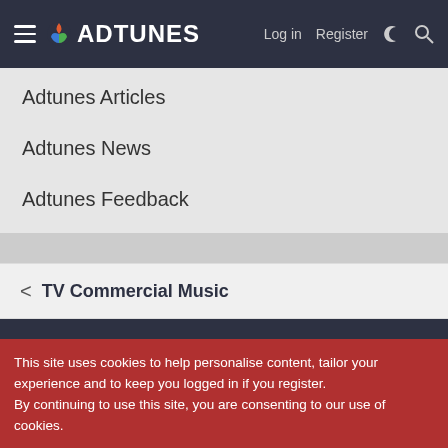ADTUNES — Log in | Register
Adtunes Articles
Adtunes News
Adtunes Feedback
< TV Commercial Music
This site uses cookies to help personalise content, tailor your experience and to keep you logged in if you register.
By continuing to use this site, you are consenting to our use of cookies.
Accept | Learn more...